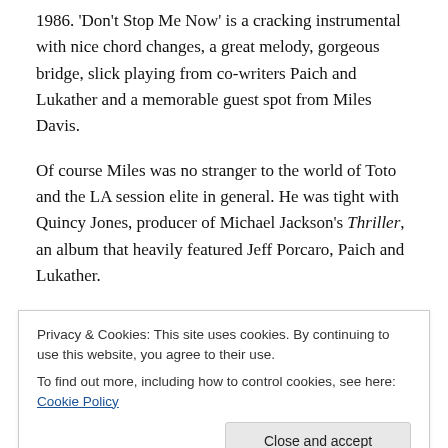1986. 'Don't Stop Me Now' is a cracking instrumental with nice chord changes, a great melody, gorgeous bridge, slick playing from co-writers Paich and Lukather and a memorable guest spot from Miles Davis.
Of course Miles was no stranger to the world of Toto and the LA session elite in general. He was tight with Quincy Jones, producer of Michael Jackson's Thriller, an album that heavily featured Jeff Porcaro, Paich and Lukather.
Miles had also covered Thriller's 'Human Nature' (co-written by Toto keyboardist Steve Porcaro) on his You're
Privacy & Cookies: This site uses cookies. By continuing to use this website, you agree to their use.
To find out more, including how to control cookies, see here: Cookie Policy
[Figure (photo): Partial image of an album cover with orange and red tones visible at the bottom of the page]